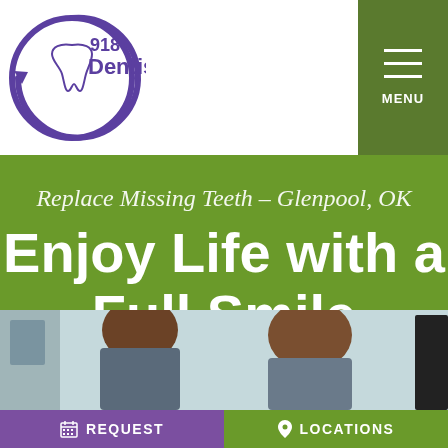[Figure (logo): 918 Dentist logo with tooth icon in purple circle and text '918 Dentist TM']
MENU
Replace Missing Teeth – Glenpool, OK
Enjoy Life with a Full Smile
[Figure (photo): Photo of dental office with two people (patients or staff) viewed from behind, light blue background wall]
REQUEST
LOCATIONS